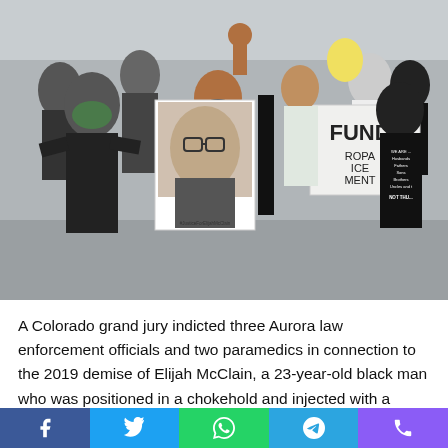[Figure (photo): Protest march scene with people carrying signs including a portrait of Elijah McClain and a 'Black Lives Matter' banner. Signs visible include '#JusticeForElijahMcClain' and 'FUND [Aurora] [Police] [Department]'. Protesters wearing masks.]
A Colorado grand jury indicted three Aurora law enforcement officials and two paramedics in connection to the 2019 demise of Elijah McClain, a 23-year-old black man who was positioned in a chokehold and injected with a robust sedative, Colorado Lawyer Common Phil Weiser introduced on